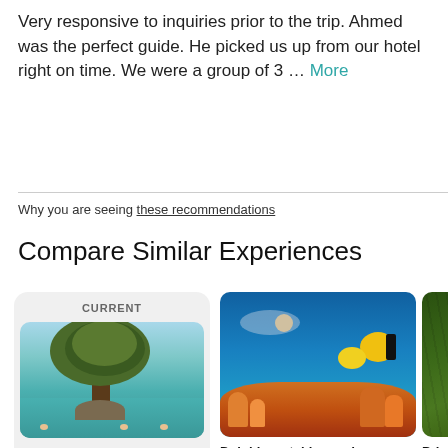Very responsive to inquiries prior to the trip. Ahmed was the perfect guide. He picked us up from our hotel right on time. We were a group of 3 … More
Why you are seeing these recommendations
Compare Similar Experiences
[Figure (photo): Card labeled CURRENT showing a photo of a tropical tree growing over turquoise water with people swimming, captioned 'Private Full-day Safari']
[Figure (photo): Photo of a snorkeler underwater with colorful tropical fish and coral reef, captioned 'Dolphin watching and']
[Figure (photo): Partially visible photo of a green forested area, captioned 'Prisco']